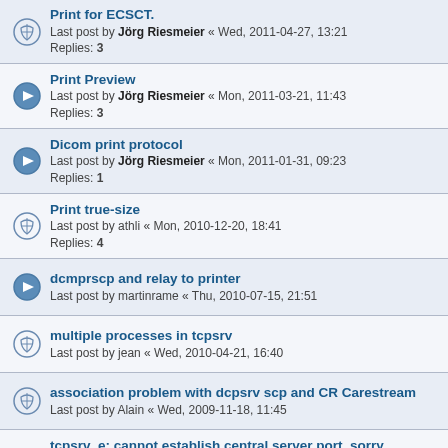Print for ECSCT. Last post by Jörg Riesmeier « Wed, 2011-04-27, 13:21 Replies: 3
Print Preview. Last post by Jörg Riesmeier « Mon, 2011-03-21, 11:43 Replies: 3
Dicom print protocol. Last post by Jörg Riesmeier « Mon, 2011-01-31, 09:23 Replies: 1
Print true-size. Last post by athli « Mon, 2010-12-20, 18:41 Replies: 4
dcmprscp and relay to printer. Last post by martinrame « Thu, 2010-07-15, 21:51
multiple processes in tcpsrv. Last post by jean « Wed, 2010-04-21, 16:40
association problem with dcpsrv scp and CR Carestream. Last post by Alain « Wed, 2009-11-18, 11:45
tcpsrv_e: cannot establish central server port, sorry. Last post by Jörg Riesmeier « Tue, 2009-10-27, 14:57 Replies: 3
Error while using dcmtk printscu. Last post by jeanledesma10 « Mon, 2009-03-09, 13:50 Replies: 2
DICOM Print. Last post by Jörg Riesmeier « Mon, 2009-03-09, 12:45 Replies: 1
Presentation State. Last post by Jörg Riesmeier « Fri, 2009-02-06, 18:44